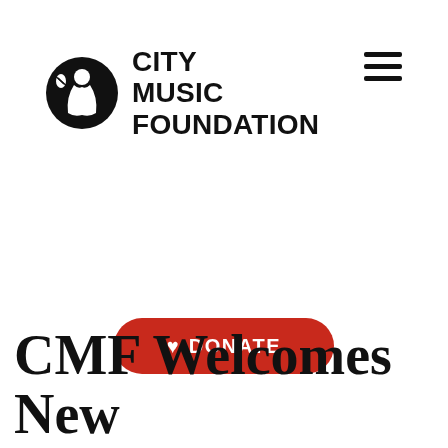[Figure (logo): City Music Foundation logo: black circle with silhouette of violin player, next to bold text CITY MUSIC FOUNDATION]
CMF Welcomes New